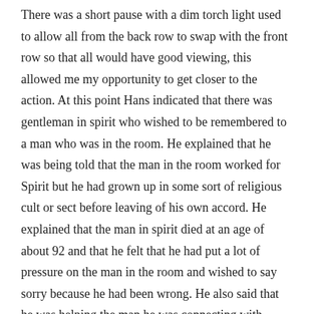There was a short pause with a dim torch light used to allow all from the back row to swap with the front row so that all would have good viewing, this allowed me my opportunity to get closer to the action. At this point Hans indicated that there was gentleman in spirit who wished to be remembered to a man who was in the room. He explained that he was being told that the man in the room worked for Spirit but he had grown up in some sort of religious cult or sect before leaving of his own accord. He explained that the man in spirit died at an age of about 92 and that he felt that he had put a lot of pressure on the man in the room and wished to say sorry because he had been wrong. He also said that he was helping the man he was connecting with.
At this point I spoke up and accepted the message as I realised it was my father, I was born into a religious sect called the Exclusive Brethren and rebelled against the strict rules from